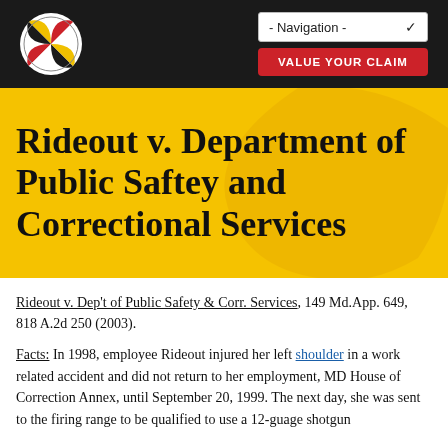Navigation - [dropdown] | VALUE YOUR CLAIM [button]
Rideout v. Department of Public Saftey and Correctional Services
Rideout v. Dep't of Public Safety & Corr. Services, 149 Md.App. 649, 818 A.2d 250 (2003).
Facts: In 1998, employee Rideout injured her left shoulder in a work related accident and did not return to her employment, MD House of Correction Annex, until September 20, 1999. The next day, she was sent to the firing range to be qualified to use a 12-guage shotgun